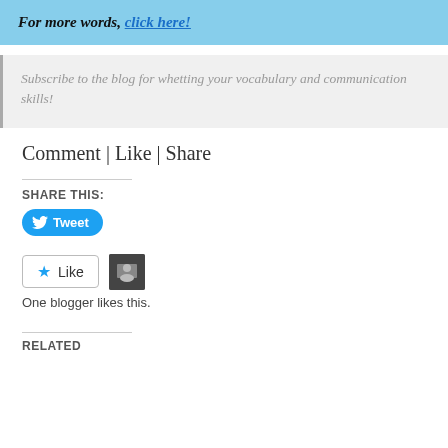For more words, click here!
Subscribe to the blog for whetting your vocabulary and communication skills!
Comment | Like | Share
SHARE THIS:
[Figure (screenshot): Tweet button with Twitter bird icon]
[Figure (screenshot): Like button with star icon and blogger avatar thumbnail]
One blogger likes this.
RELATED